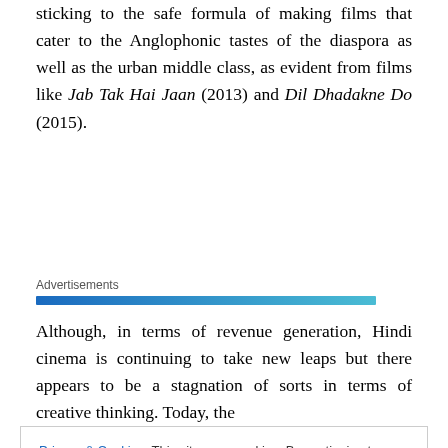sticking to the safe formula of making films that cater to the Anglophonic tastes of the diaspora as well as the urban middle class, as evident from films like Jab Tak Hai Jaan (2013) and Dil Dhadakne Do (2015).
Advertisements
Although, in terms of revenue generation, Hindi cinema is continuing to take new leaps but there appears to be a stagnation of sorts in terms of creative thinking. Today, the
Privacy & Cookies: This site uses cookies. By continuing to use this website, you agree to their use.
To find out more, including how to control cookies, see here: Cookie Policy
weeks a movie ran in the theatres. 25 weeks (Silver